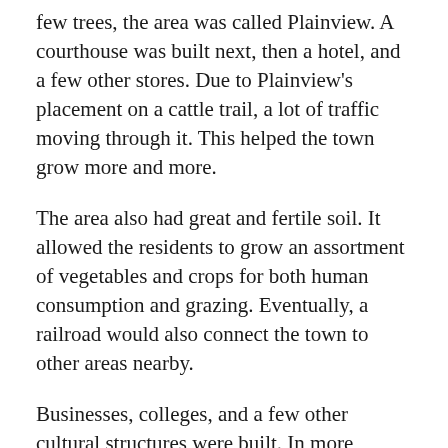few trees, the area was called Plainview. A courthouse was built next, then a hotel, and a few other stores. Due to Plainview's placement on a cattle trail, a lot of traffic moving through it. This helped the town grow more and more.
The area also had great and fertile soil. It allowed the residents to grow an assortment of vegetables and crops for both human consumption and grazing. Eventually, a railroad would also connect the town to other areas nearby.
Businesses, colleges, and a few other cultural structures were built. In more modern history, meat packaging companies like Jimmy Deans also opened stores there. Some closed and moved elsewhere, but there are still meat packing companies that thrive in Plainview to this day.
There have also been a few interesting fossils and ancient artifacts discovered in the area. Among them are an old